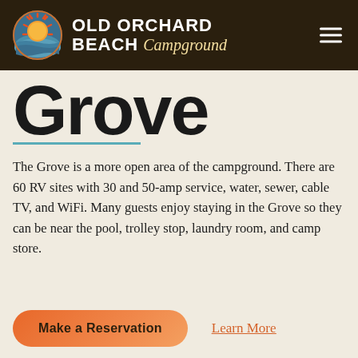[Figure (logo): Old Orchard Beach Campground logo with sun and waves circular icon and text]
Grove
The Grove is a more open area of the campground. There are 60 RV sites with 30 and 50-amp service, water, sewer, cable TV, and WiFi. Many guests enjoy staying in the Grove so they can be near the pool, trolley stop, laundry room, and camp store.
Make a Reservation
Learn More